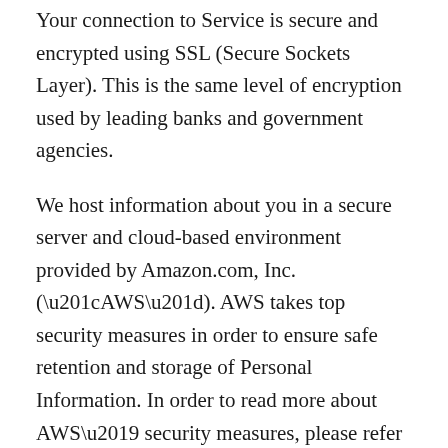Your connection to Service is secure and encrypted using SSL (Secure Sockets Layer). This is the same level of encryption used by leading banks and government agencies.

We host information about you in a secure server and cloud-based environment provided by Amazon.com, Inc. (“AWS”). AWS takes top security measures in order to ensure safe retention and storage of Personal Information. In order to read more about AWS’ security measures, please refer to https://aws.amazon.com/compliance/data-